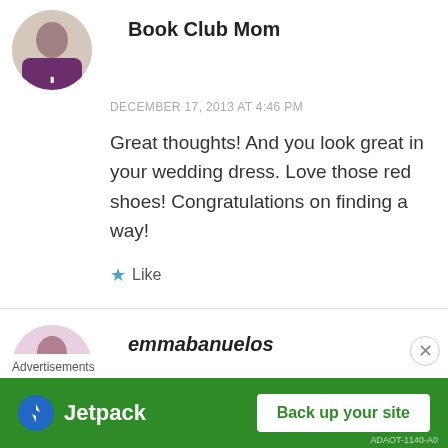Book Club Mom
DECEMBER 17, 2013 AT 4:46 PM
Great thoughts! And you look great in your wedding dress. Love those red shoes! Congratulations on finding a way!
Like
emmabanuelos
DECEMBER 17, 2013 AT 5:45 PM
Advertisements
Jetpack Back up your site